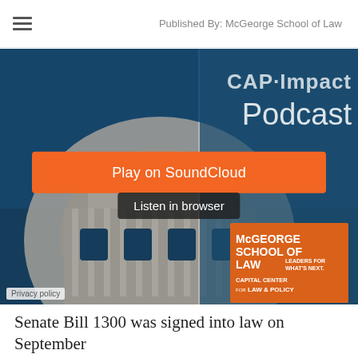Published By: McGeorge School of Law
[Figure (screenshot): CAP·Impact Podcast player interface showing a California State Capitol building photo as background with a blue overlay and CAP·Impact Podcast text at top. Features an orange 'Play on SoundCloud' button, a dark 'Listen in browser' button, a McGeorge School of Law - Capital Center for Law & Policy logo in the lower right, and a 'Privacy policy' label at the bottom left.]
Senate Bill 1300 was signed into law on September